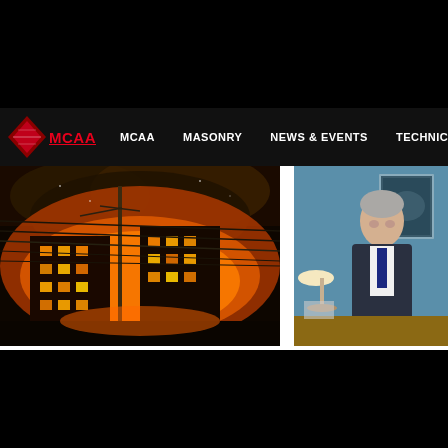[Figure (logo): MCAA logo with red diamond/triangle shape and red MCAA text]
MCAA   MASONRY   NEWS & EVENTS   TECHNICAL   ADVO...
[Figure (photo): Building on fire at night with large orange flames and smoke, power lines in foreground]
July 2015
Spread the Word: Masonry
[Figure (photo): Man in suit sitting at desk in office with framed picture on blue wall behind him]
June 2015
Busy on 'T...